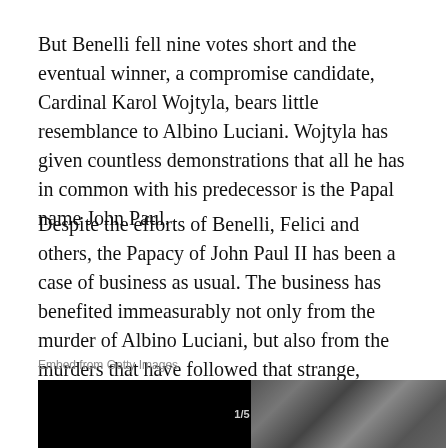But Benelli fell nine votes short and the eventual winner, a compromise candidate, Cardinal Karol Wojtyla, bears little resemblance to Albino Luciani. Wojtyla has given countless demonstrations that all he has in common with his predecessor is the Papal name John Paul.
Despite the efforts of Benelli, Felici and others, the Papacy of John Paul II has been a case of business as usual. The business has benefited immeasurably not only from the murder of Albino Luciani, but also from the murders that have followed that strange, lonely death in the Vatican in September 1978.
Embed from Getty Images
[Figure (photo): Black and white photograph showing people, partially visible, with a counter showing '1/5' overlaid. Left half is mostly black, right half shows figures in grayscale.]